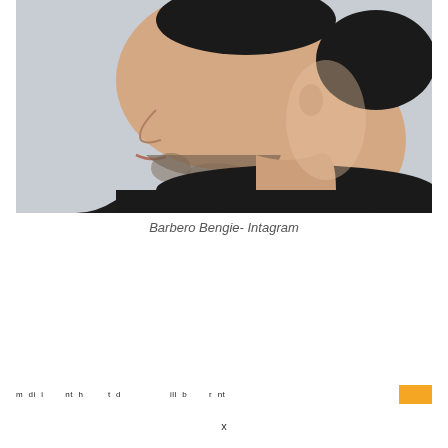[Figure (photo): Side profile portrait of a man with short dark hair, stubble beard, wearing a black top, against a light gray background.]
Barbero Bengie- Intagram
navigation bar text and orange button
x